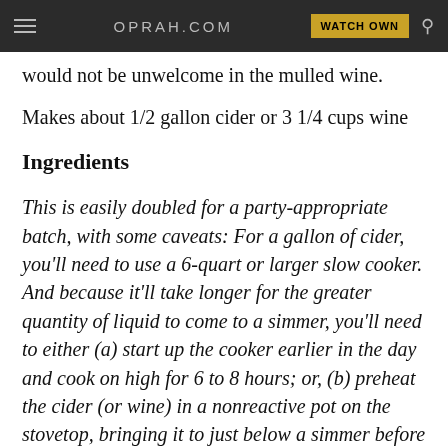OPRAH.COM  WATCH OWN
would not be unwelcome in the mulled wine.
Makes about 1/2 gallon cider or 3 1/4 cups wine
Ingredients
This is easily doubled for a party-appropriate batch, with some caveats: For a gallon of cider, you'll need to use a 6-quart or larger slow cooker. And because it'll take longer for the greater quantity of liquid to come to a simmer, you'll need to either (a) start up the cooker earlier in the day and cook on high for 6 to 8 hours; or, (b) preheat the cider (or wine) in a nonreactive pot on the stovetop, bringing it to just below a simmer before pouring it into the cooker